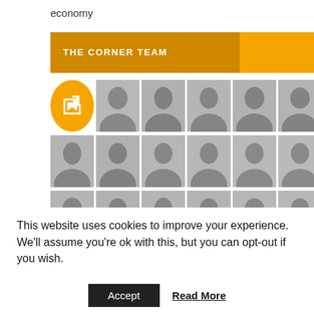economy
THE CORNER TEAM
[Figure (photo): Grid of black-and-white headshot photos of The Corner Team members, with an orange icon in the top-left position]
This website uses cookies to improve your experience. We'll assume you're ok with this, but you can opt-out if you wish.
Accept   Read More